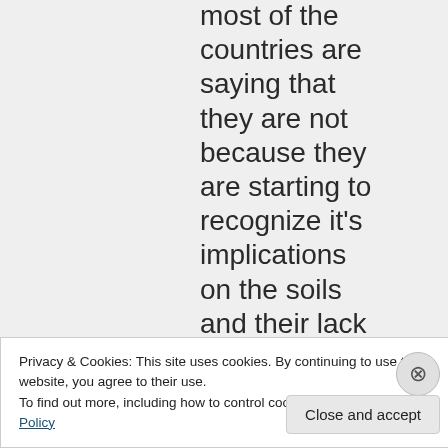most of the countries are saying that they are not because they are starting to recognize it's implications on the soils and their lack of cooperation
Privacy & Cookies: This site uses cookies. By continuing to use this website, you agree to their use.
To find out more, including how to control cookies, see here: Cookie Policy
Close and accept